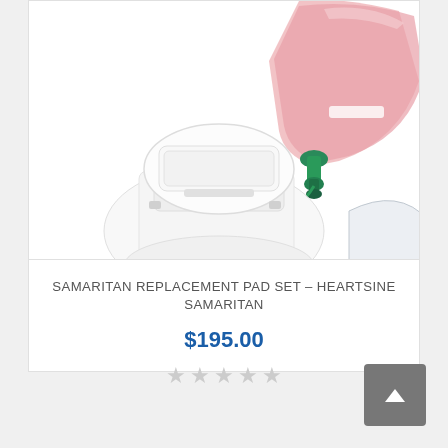[Figure (photo): Samaritan replacement pad set medical device product photo showing white AED pad cartridge and pink triangular component with green connector on white background]
SAMARITAN REPLACEMENT PAD SET – HEARTSINE SAMARITAN
$195.00
[Figure (other): Five empty star rating icons in grey]